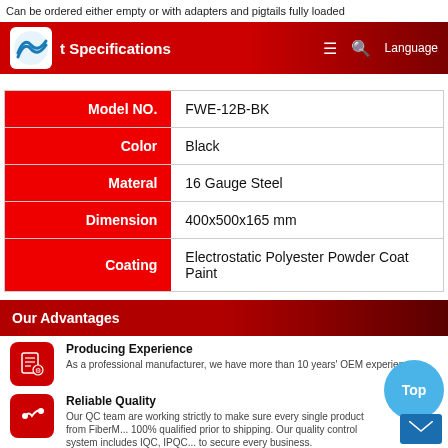Can be ordered either empty or with adapters and pigtails fully loaded
Product Specifications
| Attribute | Value |
| --- | --- |
| Model NO. | FWE-12B-BK |
| Color | Black |
| Materal | 16 Gauge Steel |
| Dimension | 400x500x165 mm |
| Coating | Electrostatic Polyester Powder Coat Paint |
Our Advantages
Producing Experience — As a professional manufacturer, we have more than 10 years' OEM experience.
Reliable Quality — Our QC team are working strictly to make sure every single product from FiberMania is 100% qualified prior to shipping. Our quality control system includes IQC, IPQC... to secure every business.
Best Service — Time is money, FiberMania team promise you 24/7 customer service and technical support.